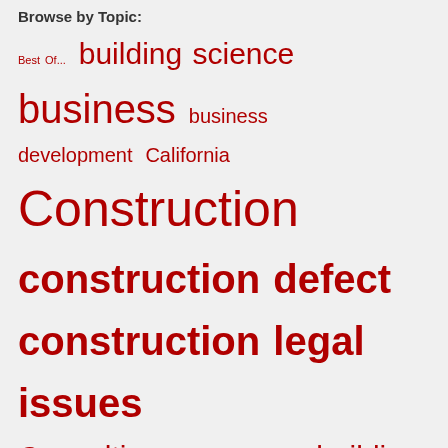Browse by Topic:
Best Of... building science business business development California Construction construction defect construction legal issues Consulting feature green building insurance law Lawsuit marketing Marketing Professional Services miscellaneous sustainability technology work-life balance
Follow AEC Forensics via Email